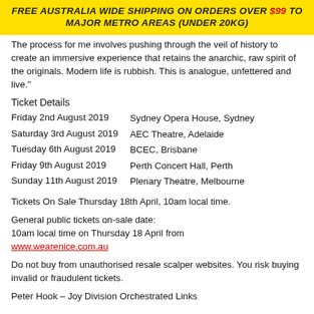FREE AUSTRALIA WIDE SHIPPING ON ORDERS OVER $99 TO MAJOR METRO AREAS (UNDER 20KG)
The process for me involves pushing through the veil of history to create an immersive experience that retains the anarchic, raw spirit of the originals. Modern life is rubbish. This is analogue, unfettered and live."
Ticket Details
| Date | Venue |
| --- | --- |
| Friday 2nd August 2019 | Sydney Opera House, Sydney |
| Saturday 3rd August 2019 | AEC Theatre, Adelaide |
| Tuesday 6th August 2019 | BCEC, Brisbane |
| Friday 9th August 2019 | Perth Concert Hall, Perth |
| Sunday 11th August 2019 | Plenary Theatre, Melbourne |
Tickets On Sale Thursday 18th April, 10am local time.
General public tickets on-sale date:
10am local time on Thursday 18 April from
www.wearenice.com.au
Do not buy from unauthorised resale scalper websites. You risk buying invalid or fraudulent tickets.
Peter Hook – Joy Division Orchestrated Links